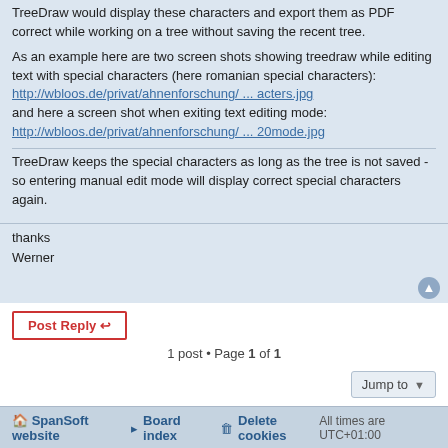TreeDraw would display these characters and export them as PDF correct while working on a tree without saving the recent tree.
As an example here are two screen shots showing treedraw while editing text with special characters (here romanian special characters): http://wbloos.de/privat/ahnenforschung/ ... acters.jpg and here a screen shot when exiting text editing mode: http://wbloos.de/privat/ahnenforschung/ ... 20mode.jpg
TreeDraw keeps the special characters as long as the tree is not saved - so entering manual edit mode will display correct special characters again.
thanks
Werner
1 post • Page 1 of 1
SpanSoft website  Board index  Delete cookies  All times are UTC+01:00
Powered by phpBB® Forum Software © phpBB Limited
Privacy | Terms